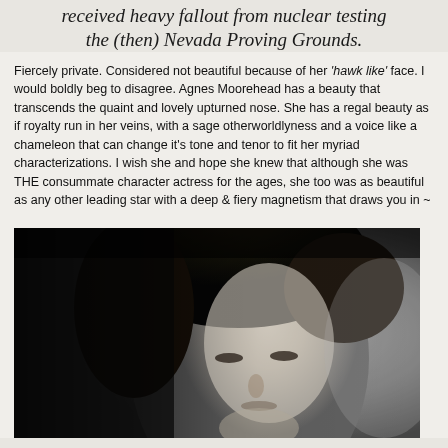received heavy fallout from nuclear testing the (then) Nevada Proving Grounds.
Fiercely private. Considered not beautiful because of her 'hawk like' face. I would boldly beg to disagree. Agnes Moorehead has a beauty that transcends the quaint and lovely upturned nose. She has a regal beauty as if royalty run in her veins, with a sage otherworldlyness and a voice like a chameleon that can change it's tone and tenor to fit her myriad characterizations. I wish she and hope she knew that although she was THE consummate character actress for the ages, she too was as beautiful as any other leading star with a deep & fiery magnetism that draws you in ~
[Figure (photo): Black and white portrait photograph of a woman with dark hair, dramatic lighting, looking intensely at the camera, face partially in shadow.]